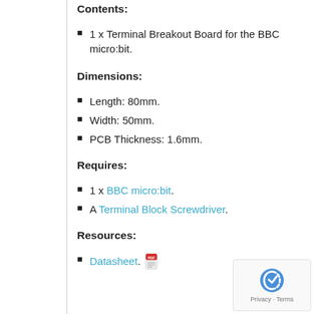Contents:
1 x Terminal Breakout Board for the BBC micro:bit.
Dimensions:
Length: 80mm.
Width: 50mm.
PCB Thickness: 1.6mm.
Requires:
1 x BBC micro:bit.
A Terminal Block Screwdriver.
Resources:
Datasheet. [PDF icon]